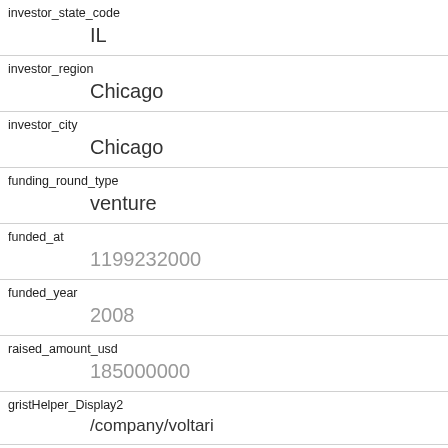| Field | Value |
| --- | --- |
| investor_state_code | IL |
| investor_region | Chicago |
| investor_city | Chicago |
| funding_round_type | venture |
| funded_at | 1199232000 |
| funded_year | 2008 |
| raised_amount_usd | 185000000 |
| gristHelper_Display2 | /company/voltari |
| Company_category_code | advertising |
| Investor | Advanced Equities
https://www.crunchbase.com/financial- |